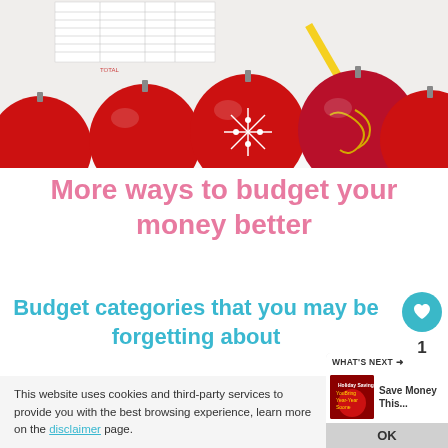[Figure (photo): Photo of red Christmas ornament balls in a row on snow, with a spreadsheet/ledger document visible in the background.]
More ways to budget your money better
Budget categories that you may be forgetting about
1
This website uses cookies and third-party services to provide you with the best browsing experience, learn more on the disclaimer page.
WHAT'S NEXT → Save Money This...
OK